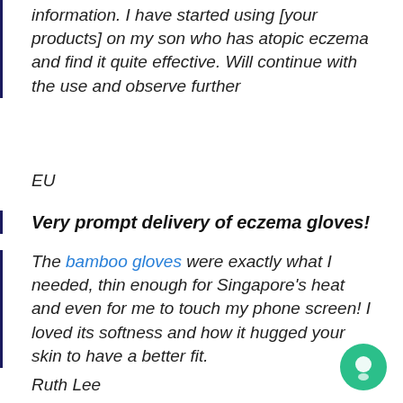information. I have started using [your products] on my son who has atopic eczema and find it quite effective. Will continue with the use and observe further
EU
Very prompt delivery of eczema gloves!
The bamboo gloves were exactly what I needed, thin enough for Singapore's heat and even for me to touch my phone screen! I loved its softness and how it hugged your skin to have a better fit.
Ruth Lee